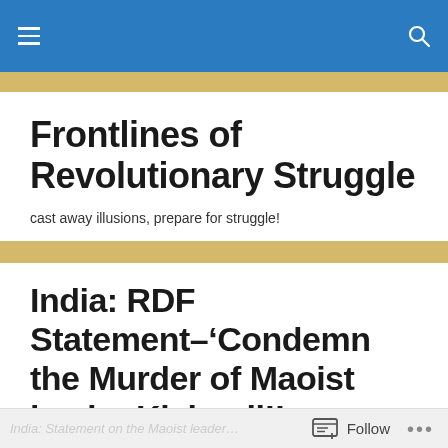Frontlines of Revolutionary Struggle — navigation bar
Frontlines of Revolutionary Struggle
cast away illusions, prepare for struggle!
India: RDF Statement–‘Condemn the Murder of Maoist leader Kishanji!’
Posted by reed
Follow •••